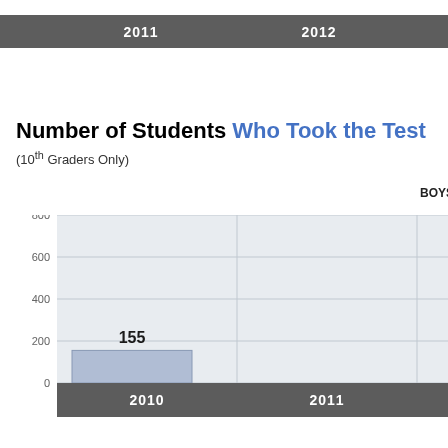[Figure (bar-chart): Partial top chart showing x-axis years 2010 2011 2012 with 0% label, dark header bar]
Data Source: Ohio Department of E...
Copyright 2022 - Gerber Analytics
Number of Students Who Took the Test (10th Graders Only)
[Figure (bar-chart): BOYS / GIRLS TAKING TEST IN [year] (10TH GRADERS ONLY)]
Data Source: Ohio Department of E...
Copyright 2022 - Gerber Analytics